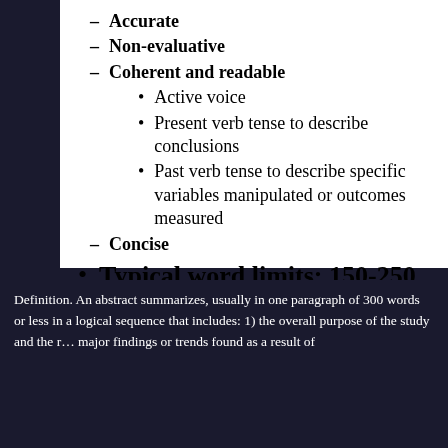– Accurate
– Non-evaluative
– Coherent and readable
• Active voice
• Present verb tense to describe conclusions
• Past verb tense to describe specific variables manipulated or outcomes measured
– Concise
• Typical word limits: 150-250 words
Copyright Johanna P. Bishop 2009
Definition. An abstract summarizes, usually in one paragraph of 300 words or less in a logical sequence that includes: 1) the overall purpose of the study and the research problem(s) you investigated; major findings or trends found as a result of